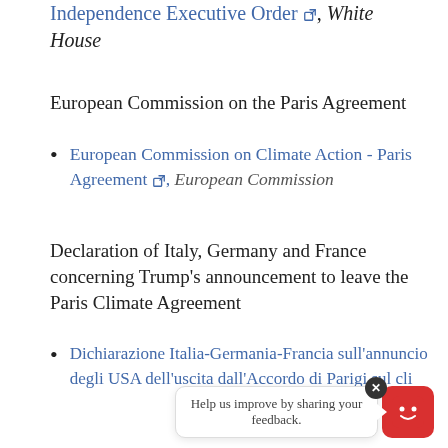Independence Executive Order ↗, White House
European Commission on the Paris Agreement
European Commission on Climate Action - Paris Agreement ↗, European Commission
Declaration of Italy, Germany and France concerning Trump's announcement to leave the Paris Climate Agreement
Dichiarazione Italia-Germania-Francia sull'annuncio degli USA dell'uscita dall'Accordo di Parigi sul cli...
Help us improve by sharing your feedback.